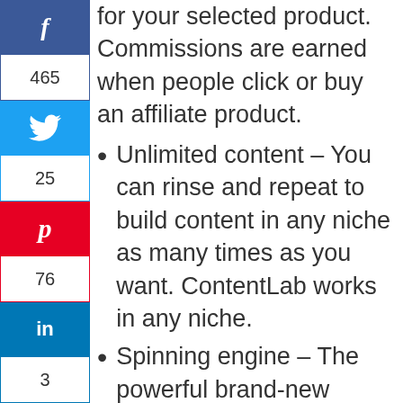[Figure (infographic): Social share sidebar with Facebook (465), Twitter (25), Pinterest (76), LinkedIn (3) buttons]
for your selected product. Commissions are earned when people click or buy an affiliate product.
Unlimited content – You can rinse and repeat to build content in any niche as many times as you want. ContentLab works in any niche.
Spinning engine – The powerful brand-new spinning engine creates unique, readable content that can even deceive